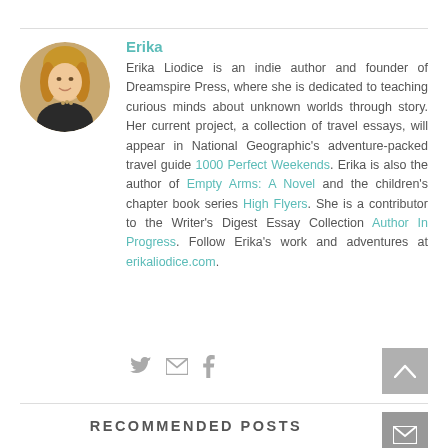[Figure (photo): Circular avatar photo of Erika Liodice, a woman with blonde hair]
Erika
Erika Liodice is an indie author and founder of Dreamspire Press, where she is dedicated to teaching curious minds about unknown worlds through story. Her current project, a collection of travel essays, will appear in National Geographic's adventure-packed travel guide 1000 Perfect Weekends. Erika is also the author of Empty Arms: A Novel and the children's chapter book series High Flyers. She is a contributor to the Writer's Digest Essay Collection Author In Progress. Follow Erika's work and adventures at erikaliodice.com.
RECOMMENDED POSTS